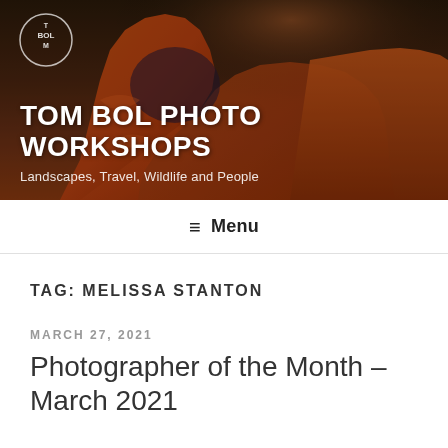[Figure (photo): Hero banner image of a red sandstone arch (Delicate Arch style) at sunset with dramatic orange and dark sky tones. Overlaid with Tom Bol Photo Workshops logo circle in top left, site title 'TOM BOL PHOTO WORKSHOPS' in large white text, and tagline 'Landscapes, Travel, Wildlife and People' below.]
≡ Menu
TAG: MELISSA STANTON
MARCH 27, 2021
Photographer of the Month – March 2021